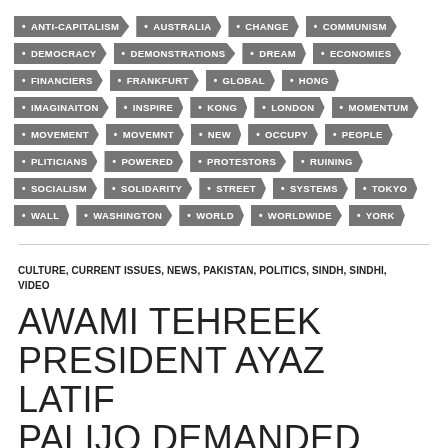ANTI-CAPITALISM, AUSTRALIA, CHANGE, COMMUNISM, DEMOCRACY, DEMONSTRATIONS, DREAM, ECONOMIES, FINANCIERS, FRANKFURT, GLOBAL, HONG, IMAGINAITON, INSPIRE, KONG, LONDON, MOMENTUM, MOVEMENT, MOVEMNT, NEW, OCCUPY, PEOPLE, PLITICIANS, POWERED, PROTESTORS, RUINING, SOCIALISM, SOLIDARITY, STREET, SYSTEMS, TOKYO, WALL, WASHINGTON, WORLD, WORLDWIDE, YORK
CULTURE, CURRENT ISSUES, NEWS, PAKISTAN, POLITICS, SINDH, SINDHI, VIDEO
AWAMI TEHREEK PRESIDENT AYAZ LATIF PALIJO DEMANDED THAT